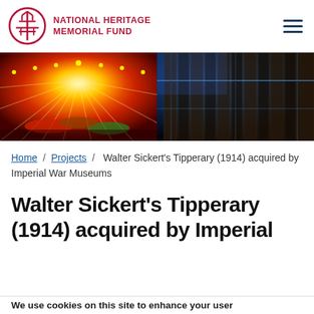NATIONAL HERITAGE MEMORIAL FUND
[Figure (photo): Two-panel hero image: left panel shows a colorful illuminated fairground carousel/bumper cars with bright orange, red and yellow lights; right panel shows the interior of a historic wooden ship hull structure with blue ambient lighting]
Home / Projects / Walter Sickert's Tipperary (1914) acquired by Imperial War Museums
Walter Sickert's Tipperary (1914) acquired by Imperial War
We use cookies on this site to enhance your user